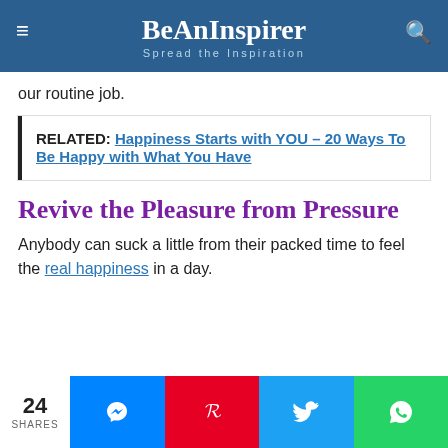BeAnInspirer – Spread the Inspiration
our routine job.
RELATED: Happiness Starts with YOU – 20 Ways To Be Happy with What You Have
Revive the Pleasure from Pressure
Anybody can suck a little from their packed time to feel the real happiness in a day.
24 SHARES [Messenger] [Pinterest] [Twitter] [WhatsApp]